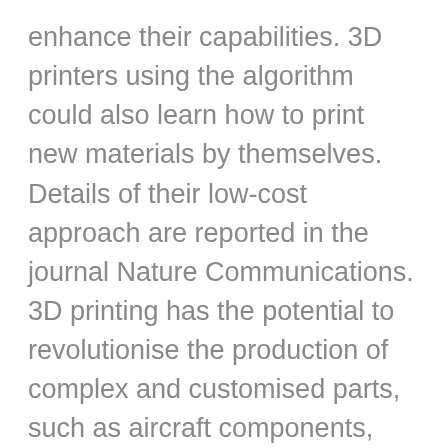enhance their capabilities. 3D printers using the algorithm could also learn how to print new materials by themselves. Details of their low-cost approach are reported in the journal Nature Communications. 3D printing has the potential to revolutionise the production of complex and customised parts, such as aircraft components, personalised medical implants, or even intricate sweets, and could also transform manufacturing supply chains. However, it is also vulnerable to production errors, from small-scale inaccuracies and mechanical weaknesses through to total build failures. Currently, the way to prevent or correct these